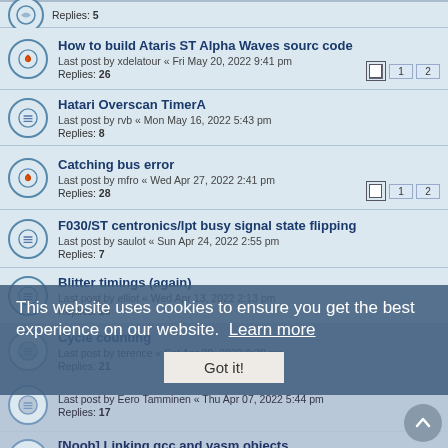Replies: 5
How to build Ataris ST Alpha Waves sourc code
Last post by xdelatour « Fri May 20, 2022 9:41 pm
Replies: 26
Hatari Overscan TimerA
Last post by rvb « Mon May 16, 2022 5:43 pm
Replies: 8
Catching bus error
Last post by mfro « Wed Apr 27, 2022 2:41 pm
Replies: 28
F030/ST centronics/lpt busy signal state flipping
Last post by saulot « Sun Apr 24, 2022 2:55 pm
Replies: 7
Blitter timings (again)
Last post by elliot « Wed Apr 13, 2022 2:13 pm
Replies: 10
Cycle counting
Last post by terence « Sat Apr 09, 2022 8:38 am
Replies: 21
Last post by Eero Tamminen « Thu Apr 07, 2022 5:44 pm
Replies: 17
[Noob] Linking gcc and vasm objects
Last post by mfro « Fri Feb 25, 2022 3:11 pm
Replies: 14
Custom mouse routines
This website uses cookies to ensure you get the best experience on our website. Learn more
Got it!